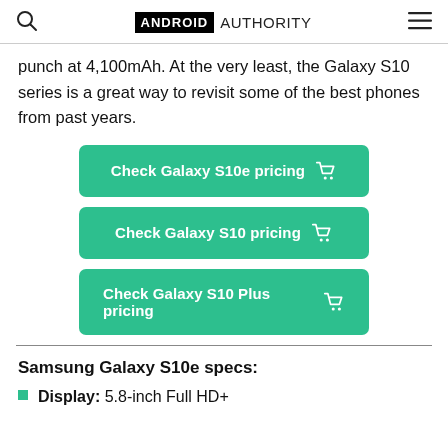ANDROID AUTHORITY
punch at 4,100mAh. At the very least, the Galaxy S10 series is a great way to revisit some of the best phones from past years.
[Figure (infographic): Three green call-to-action buttons: 'Check Galaxy S10e pricing', 'Check Galaxy S10 pricing', 'Check Galaxy S10 Plus pricing']
Samsung Galaxy S10e specs:
Display: 5.8-inch Full HD+